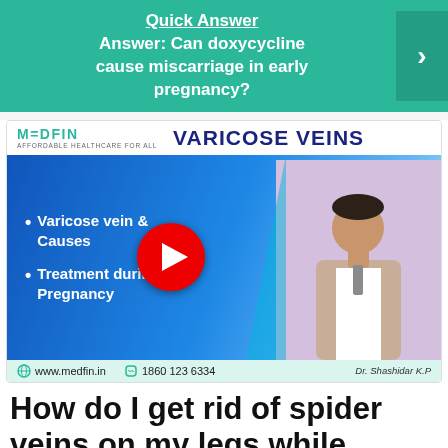Quick Answer: Can doxycycline cause miscarriage in early pregnancy?
[Figure (screenshot): Medfin promotional video thumbnail about Varicose Veins featuring bullet points 'Varicose vein & Causes' and 'Treatment during Pregnancy', with a YouTube play button overlay, and Dr. Shashidar K.P. Contact: www.medfin.in, 1860 123 6334]
How do I get rid of spider veins on my legs while pregnant?
How to Treat Varicose Veins Naturally